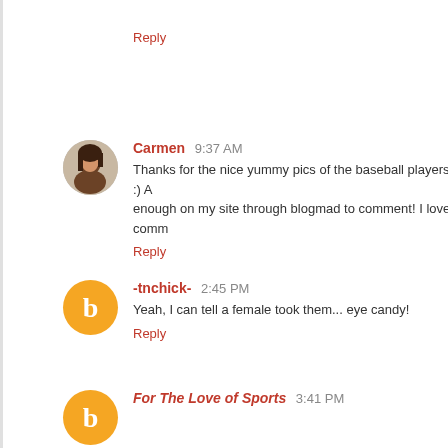Reply
Carmen 9:37 AM
Thanks for the nice yummy pics of the baseball players :) A enough on my site through blogmad to comment! I love comm
Reply
-tnchick- 2:45 PM
Yeah, I can tell a female took them... eye candy!
Reply
For The Love of Sports 3:41 PM
Cant resist pix of cute boys! bring em on!!
Reply
Wilson Clan 12:21 AM